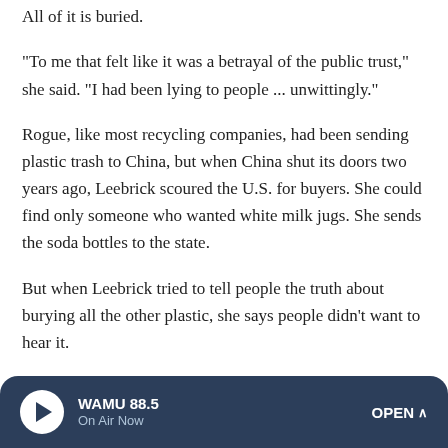All of it is buried.
"To me that felt like it was a betrayal of the public trust," she said. "I had been lying to people ... unwittingly."
Rogue, like most recycling companies, had been sending plastic trash to China, but when China shut its doors two years ago, Leebrick scoured the U.S. for buyers. She could find only someone who wanted white milk jugs. She sends the soda bottles to the state.
But when Leebrick tried to tell people the truth about burying all the other plastic, she says people didn't want to hear it.
"I remember the first meeting where I actually told a city
WAMU 88.5 On Air Now OPEN